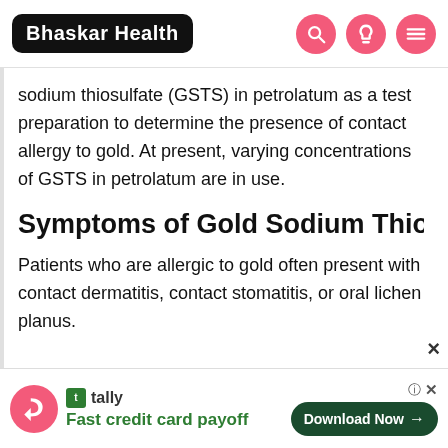Bhaskar Health
sodium thiosulfate (GSTS) in petrolatum as a test preparation to determine the presence of contact allergy to gold. At present, varying concentrations of GSTS in petrolatum are in use.
Symptoms of Gold Sodium Thios
Patients who are allergic to gold often present with contact dermatitis, contact stomatitis, or oral lichen planus.
[Figure (infographic): Tally app advertisement banner: Fast credit card payoff, Download Now button]